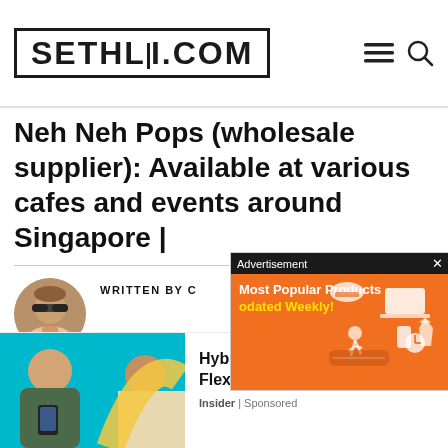SETHLUI.COM
Neh Neh Pops (wholesale supplier): Available at various cafes and events around Singapore |
[Figure (screenshot): Advertisement overlay with orange background showing 'Most Popular Products Updated Weekly!' text and shopping icons]
WRITTEN BY C
Current Singapore re... U.S.A. Tackling the mean streets of Robertson Quay by day, tasting new eateries by night. Never one to turn down a holiday or a glass of vino.
[Figure (screenshot): Bottom advertisement: Hybrid Work Is Designed To Be Flexible And Inclusive. Insider | Sponsored. Shows image of people with phones.]